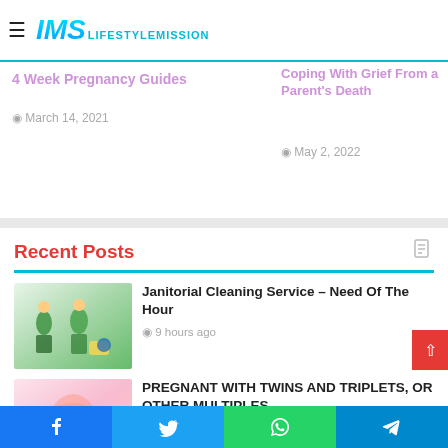IMS LIFESTYLEMISSION
4 Week Pregnancy Guides
March 14, 2021
Coping With Grief From a Parent's Death
May 2, 2022
Recent Posts
[Figure (photo): Janitorial cleaning service workers in green uniforms cleaning an indoor space]
Janitorial Cleaning Service – Need Of The Hour
9 hours ago
[Figure (photo): Pregnant woman's belly close-up on peach/pink background]
PREGNANT WITH TWINS AND TRIPLETS, OR OTHER MULTIPLES
9 hours ago
[Figure (photo): Dark-toned image related to cycling or fitness]
The most popular cycles with
Facebook | Twitter | WhatsApp | Telegram